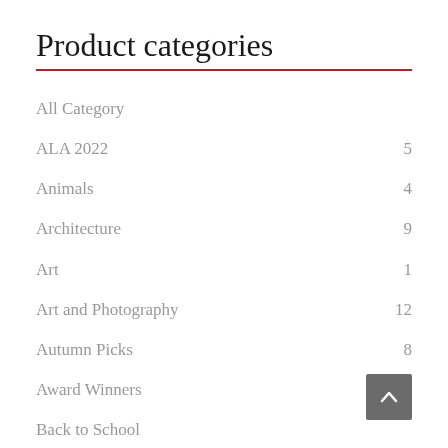Product categories
All Category
ALA 2022
Animals
Architecture
Art
Art and Photography
Autumn Picks
Award Winners
Back to School